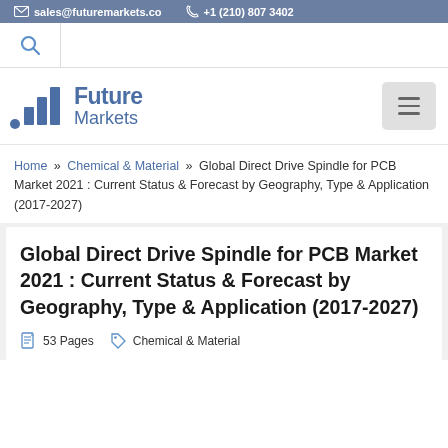sales@futuremarkets.co  +1 (210) 807 3402
[Figure (logo): Future Markets logo with bar chart icon and text 'Future Markets']
Home » Chemical & Material » Global Direct Drive Spindle for PCB Market 2021 : Current Status & Forecast by Geography, Type & Application (2017-2027)
Global Direct Drive Spindle for PCB Market 2021 : Current Status & Forecast by Geography, Type & Application (2017-2027)
53 Pages   Chemical & Material